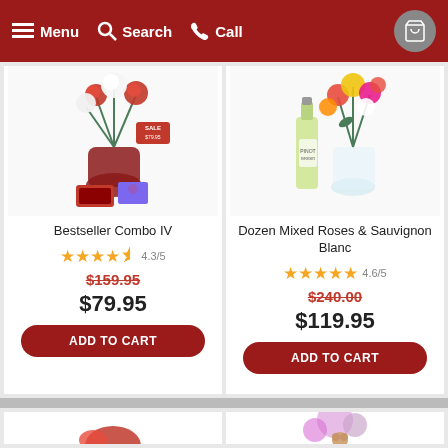Menu  Search  Call
[Figure (photo): Flower arrangement combo with roses, white lilies, chocolates and a gift card with a sale tag showing original price]
Bestseller Combo IV
4.3/5 stars rating
$159.95 (original price, strikethrough)
$79.95 (sale price)
ADD TO CART
[Figure (photo): Dozen mixed roses bouquet in glass vase with a bottle of Sauvignon Blanc wine]
Dozen Mixed Roses & Sauvignon Blanc
4.6/5 stars rating
$240.00 (original price, strikethrough)
$119.95 (sale price)
ADD TO CART
[Figure (photo): Partial view of a red floral product, bottom of page]
[Figure (photo): Pink and white daisy bouquet with a stuffed bear toy, partially visible at bottom of page]